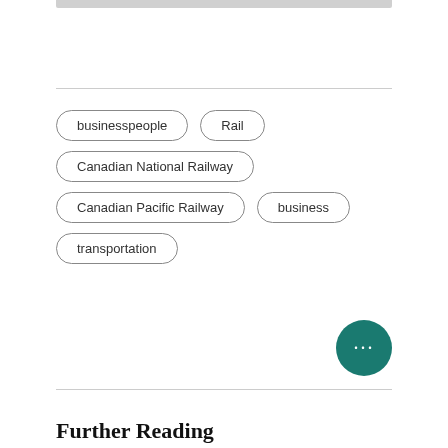businesspeople
Rail
Canadian National Railway
Canadian Pacific Railway
business
transportation
Further Reading